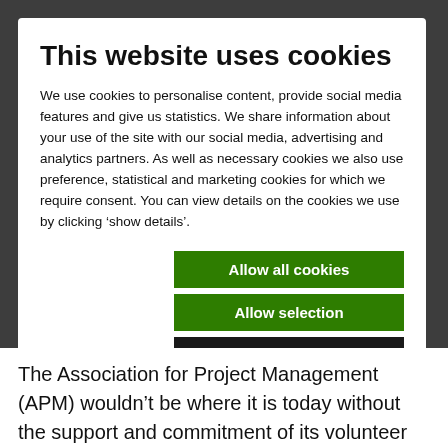This website uses cookies
We use cookies to personalise content, provide social media features and give us statistics. We share information about your use of the site with our social media, advertising and analytics partners. As well as necessary cookies we also use preference, statistical and marketing cookies for which we require consent.  You can view details on the cookies we use by clicking ‘show details’.
Allow all cookies
Allow selection
Use necessary cookies only
Necessary  Preferences  Statistics  Marketing  Show details
The Association for Project Management (APM) wouldn’t be where it is today without the support and commitment of its volunteer community.